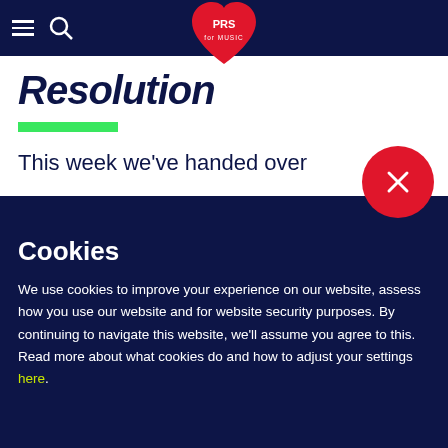PRS for Music navigation bar with hamburger menu, search icon, and PRS for Music logo
Resolution
This week we've handed over
[Figure (logo): PRS for Music heart-shaped logo in red with white text 'PRS for MUSIC']
Cookies
We use cookies to improve your experience on our website, assess how you use our website and for website security purposes. By continuing to navigate this website, we'll assume you agree to this. Read more about what cookies do and how to adjust your settings here.